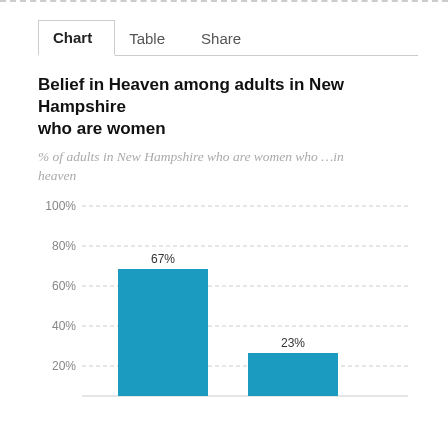Chart	Table	Share
Belief in Heaven among adults in New Hampshire who are women
% of adults in New Hampshire who are women who …in heaven
[Figure (bar-chart): Belief in Heaven among adults in New Hampshire who are women]